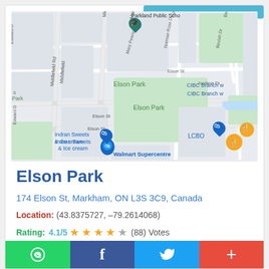[Figure (map): Google Maps screenshot showing Elson Park area in Markham, ON. Labels visible: Parkland Public School, Elson Park, CIBC Branch, LCBO, Indran Sweets & Ice cream, Walmart Supercentre, streets: Middlefield Rd, Mary Pearson Dr, Norman Ross Dr, Elson St, Jordana Dr, Beulah Dr, Edward D.]
Elson Park
174 Elson St, Markham, ON L3S 3C9, Canada
Location: (43.8375727, -79.2614068)
Rating: 4.1/5 ★★★★☆ (88) Votes